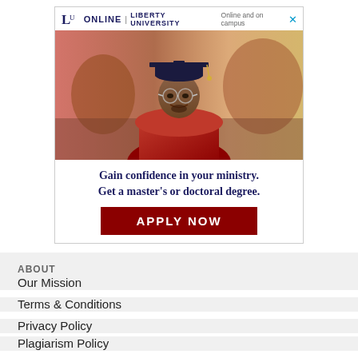[Figure (illustration): Liberty University Online advertisement banner featuring a graduating student wearing a cap and gown with glasses, smiling. Text reads 'Gain confidence in your ministry. Get a master's or doctoral degree.' with an 'APPLY NOW' button. Header shows LU ONLINE | LIBERTY UNIVERSITY - Online and on campus.]
ABOUT
Our Mission
Terms & Conditions
Privacy Policy
Plagiarism Policy
FAQS